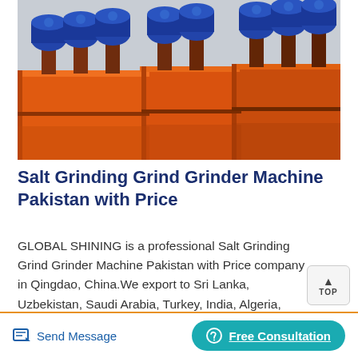[Figure (photo): Industrial orange and blue grinding/flotation machines in a factory setting. Multiple blue electric motors mounted on top of large orange rectangular tanks arranged in a row.]
Salt Grinding Grind Grinder Machine Pakistan with Price
GLOBAL SHINING is a professional Salt Grinding Grind Grinder Machine Pakistan with Price company in Qingdao, China.We export to Sri Lanka, Uzbekistan, Saudi Arabia, Turkey, India, Algeria, Philippine, Nigeria, Bangladesh etc. for
Send Message | Free Consultation